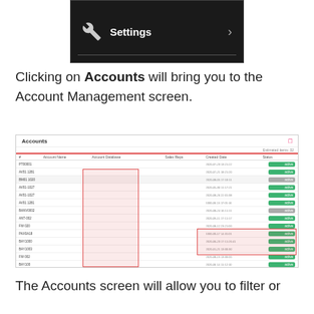[Figure (screenshot): Settings menu item with wrench icon and arrow on dark background]
Clicking on Accounts will bring you to the Account Management screen.
[Figure (screenshot): Account Management screen showing a table of accounts with columns for ID, Account Name, Account Database, Sales Reps, Created Date, and Status. Two columns are redacted with pink/red overlay boxes.]
The Accounts screen will allow you to filter or